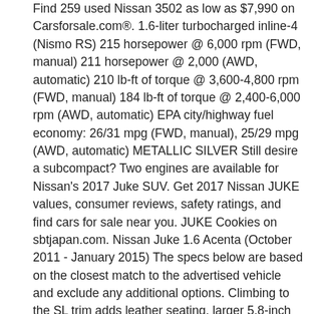Find 259 used Nissan 3502 as low as $7,990 on Carsforsale.com®. 1.6-liter turbocharged inline-4 (Nismo RS) 215 horsepower @ 6,000 rpm (FWD, manual) 211 horsepower @ 2,000 (AWD, automatic) 210 lb-ft of torque @ 3,600-4,800 rpm (FWD, manual) 184 lb-ft of torque @ 2,400-6,000 rpm (AWD, automatic) EPA city/highway fuel economy: 26/31 mpg (FWD, manual), 25/29 mpg (AWD, automatic) METALLIC SILVER Still desire a subcompact? Two engines are available for Nissan's 2017 Juke SUV. Get 2017 Nissan JUKE values, consumer reviews, safety ratings, and find cars for sale near you. JUKE Cookies on sbtjapan.com. Nissan Juke 1.6 Acenta (October 2011 - January 2015) The specs below are based on the closest match to the advertised vehicle and exclude any additional options. Climbing to the SL trim adds leather seating, larger 5.8-inch display with navigation and voice recognition, a pounding Rockford Fosgate audio system, automatic headlights and